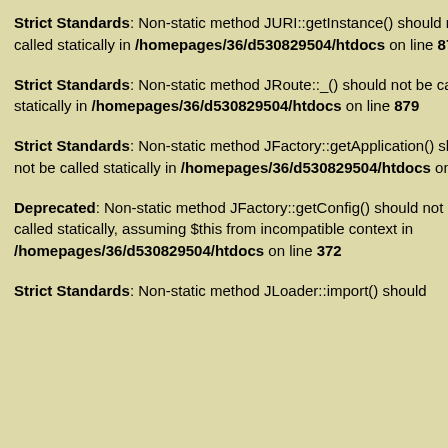Strict Standards: Non-static method JURI::getInstance() should not be called statically in /homepages/36/d530829504/htdocs on line 877
Strict Standards: Non-static method JRoute::_() should not be called statically in /homepages/36/d530829504/htdocs on line 879
Strict Standards: Non-static method JFactory::getApplication() should not be called statically in /homepages/36/d530829504/htdocs on line 41
Deprecated: Non-static method JFactory::getConfig() should not be called statically, assuming $this from incompatible context in /homepages/36/d530829504/htdocs on line 372
Strict Standards: Non-static method JLoader::import() should